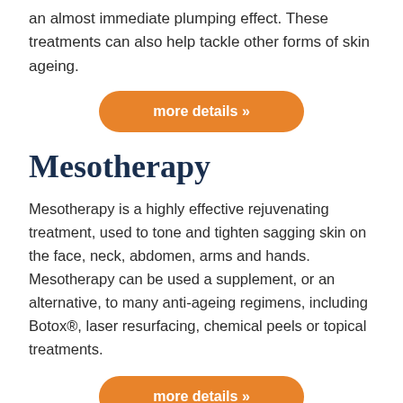an almost immediate plumping effect. These treatments can also help tackle other forms of skin ageing.
[Figure (other): Orange rounded button with text 'more details »']
Mesotherapy
Mesotherapy is a highly effective rejuvenating treatment, used to tone and tighten sagging skin on the face, neck, abdomen, arms and hands. Mesotherapy can be used a supplement, or an alternative, to many anti-ageing regimens, including Botox®, laser resurfacing, chemical peels or topical treatments.
[Figure (other): Orange rounded button with text 'more details »']
Non-Surgical Face Lifts